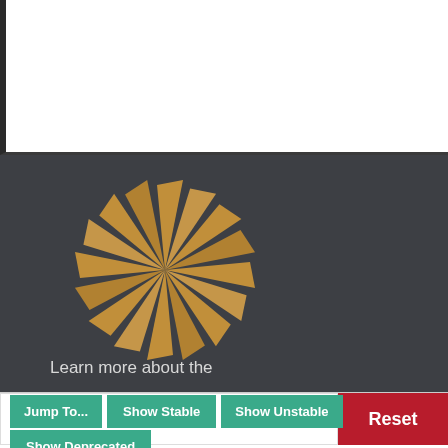[Figure (illustration): White rectangular area at the top of the page, appears to be a blank or partially visible content area with a dark left border strip.]
[Figure (illustration): Dark gray background panel containing a spinning pinwheel/turbine logo made of golden/tan colored blade shapes arranged in a circular rotational pattern.]
Learn more about the
Filter...
Reset
Jump To...
Show Stable
Show Unstable
Show Deprecated